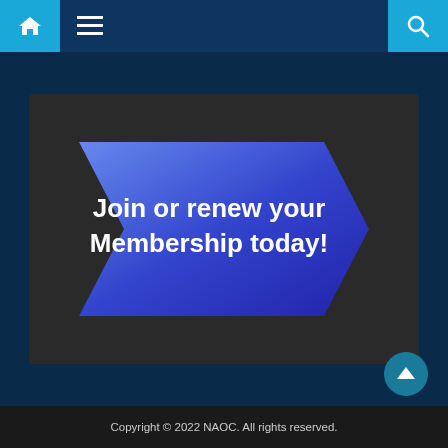[Figure (screenshot): Website navigation bar with home icon, hamburger menu icon, and search icon on a dark blue background with cyan accent squares]
[Figure (illustration): Dark card/banner containing a blue gradient arrow/chevron shape pointing right with bold white text reading 'Join or renew your Membership today!']
Copyright © 2022 NAOC. All rights reserved.